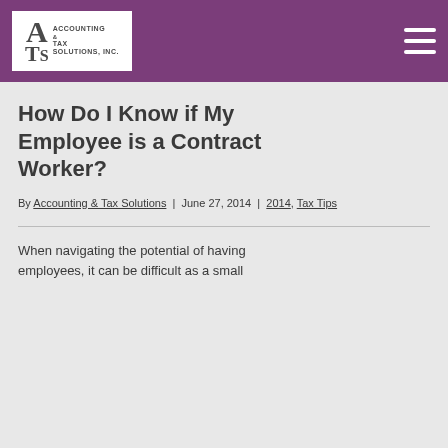Accounting & Tax Solutions, Inc. — navigation header with logo and menu toggle
How Do I Know if My Employee is a Contract Worker?
By Accounting & Tax Solutions | June 27, 2014 | 2014, Tax Tips
When navigating the potential of having employees, it can be difficult as a small